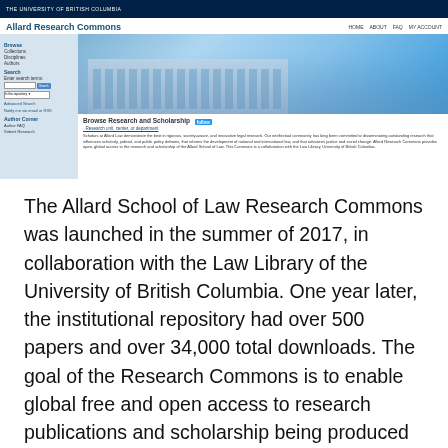[Figure (screenshot): Screenshot of the Allard Research Commons website at the University of British Columbia, showing the site header with navigation (HOME, ABOUT, FAQ, MY ACCOUNT), a left sidebar with Browse and Search sections, a photo of the Allard School of Law building, and a 'Browse Research and Scholarship' section with descriptive text.]
The Allard School of Law Research Commons was launched in the summer of 2017, in collaboration with the Law Library of the University of British Columbia. One year later, the institutional repository had over 500 papers and over 34,000 total downloads. The goal of the Research Commons is to enable global free and open access to research publications and scholarship being produced at the Allard School of Law, under one central umbrella. A major initiative of the project was to source